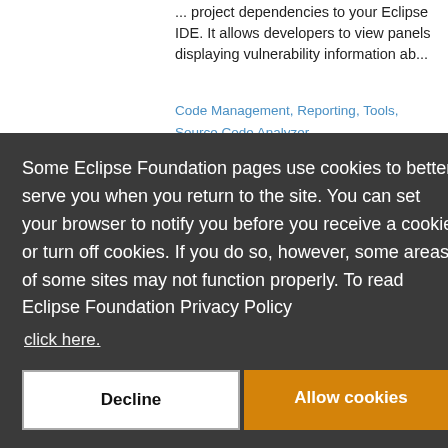... project dependencies to your Eclipse IDE. It allows developers to view panels displaying vulnerability information ab...
Code Management, Reporting, Tools, Source Code Analyzer
Some Eclipse Foundation pages use cookies to better serve you when you return to the site. You can set your browser to notify you before you receive a cookie or turn off cookies. If you do so, however, some areas of some sites may not function properly. To read Eclipse Foundation Privacy Policy
click here.
Decline
Allow cookies
by
Xavier Luiz